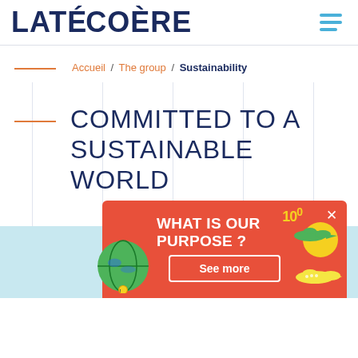LATÉCOÈRE
Accueil / The group / Sustainability
COMMITTED TO A SUSTAINABLE WORLD
[Figure (infographic): Coral/red popup card with illustrated elements (globe, airplane, sun, rainbow, satellite, '100' text) and heading 'WHAT IS OUR PURPOSE ?' with a 'See more' button. Close X in top right.]